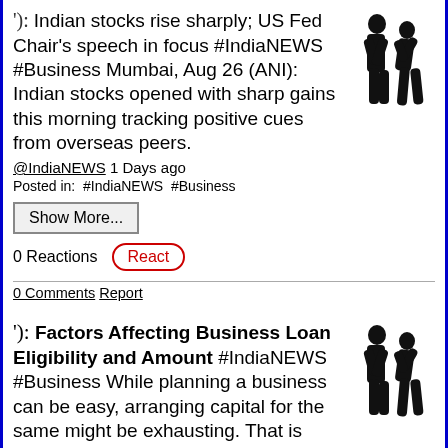↵: Indian stocks rise sharply; US Fed Chair's speech in focus #IndiaNEWS #Business Mumbai, Aug 26 (ANI): Indian stocks opened with sharp gains this morning tracking positive cues from overseas peers.
[Figure (illustration): Silhouette of two people dancing or embracing]
@IndiaNEWS 1 Days ago
Posted in:  #IndiaNEWS  #Business
Show More...
0 Reactions   React
0 Comments  Report
❟: Factors Affecting Business Loan Eligibility and Amount #IndiaNEWS #Business While planning a business can be easy, arranging capital for the same might be exhausting. That is when a business loan
[Figure (illustration): Silhouette of two people dancing or embracing]
@IndiaNEWS 1 Days ago